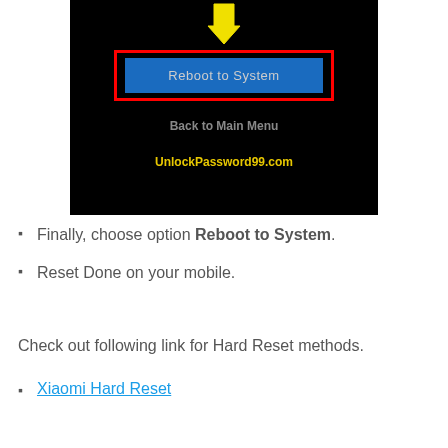[Figure (screenshot): Android recovery menu screenshot showing 'Reboot to System' option highlighted in a blue button inside a red border box, with a yellow downward arrow pointing to it, 'Back to Main Menu' text below, and 'UnlockPassword99.com' watermark in yellow]
Finally, choose option Reboot to System.
Reset Done on your mobile.
Check out following link for Hard Reset methods.
Xiaomi Hard Reset